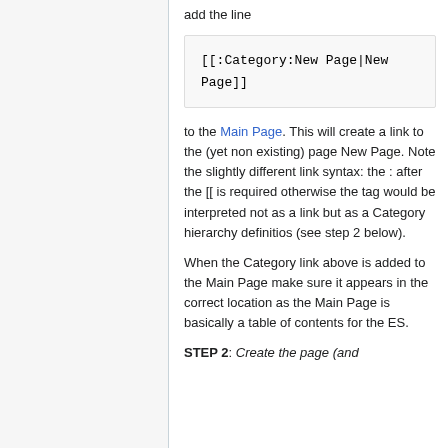add the line
[[:Category:New Page|New Page]]
to the Main Page. This will create a link to the (yet non existing) page New Page. Note the slightly different link syntax: the : after the [[ is required otherwise the tag would be interpreted not as a link but as a Category hierarchy definitios (see step 2 below).
When the Category link above is added to the Main Page make sure it appears in the correct location as the Main Page is basically a table of contents for the ES.
STEP 2: Create the page (and ...